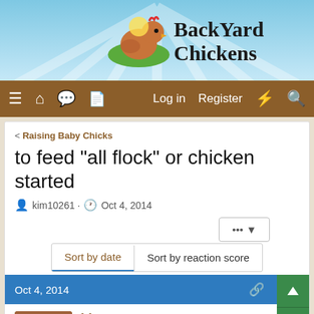[Figure (screenshot): BackYard Chickens website header with chicken logo and site name]
BackYard Chickens — Log in  Register
< Raising Baby Chicks
to feed "all flock" or chicken started
kim10261 · Oct 4, 2014
Sort by date  Sort by reaction score
Oct 4, 2014
kim10261
Chirping  5 Years
I will be getting baby chicks at the end of this month and they will be introduced to the flock after they are fully